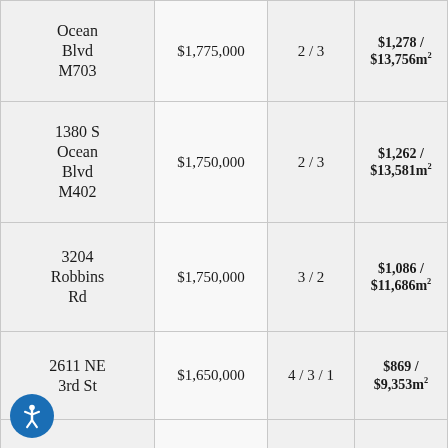| Address | Price | Bed/Bath | Size | Price/SF |
| --- | --- | --- | --- | --- |
| Ocean Blvd M703 | $1,775,000 | 2 / 3 | 1,389sf / 129m² | $1,278 / $13,756m² |
| 1380 S Ocean Blvd M402 | $1,750,000 | 2 / 3 | 1,387sf / 129m² | $1,262 / $13,581m² |
| 3204 Robbins Rd | $1,750,000 | 3 / 2 | 1,612sf / 150m² | $1,086 / $11,686m² |
| 2611 NE 3rd St | $1,650,000 | 4 / 3 / 1 | 1,899sf / 176m² | $869 / $9,353m² |
| 801 Briny 802 | $1,650,000 | 2 / 3 | 2,809sf / 261m² | $587 / $6,323m² |